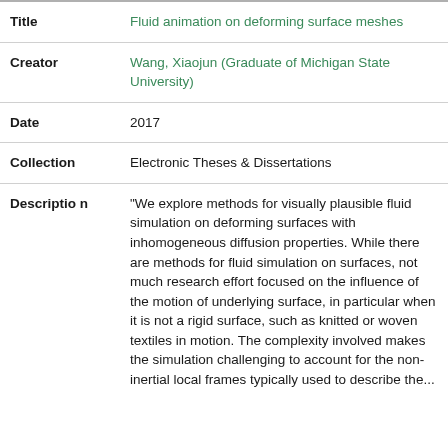| Field | Value |
| --- | --- |
| Title | Fluid animation on deforming surface meshes |
| Creator | Wang, Xiaojun (Graduate of Michigan State University) |
| Date | 2017 |
| Collection | Electronic Theses & Dissertations |
| Description | "We explore methods for visually plausible fluid simulation on deforming surfaces with inhomogeneous diffusion properties. While there are methods for fluid simulation on surfaces, not much research effort focused on the influence of the motion of underlying surface, in particular when it is not a rigid surface, such as knitted or woven textiles in motion. The complexity involved makes the simulation challenging to account for the non-inertial local frames typically used to describe the... |